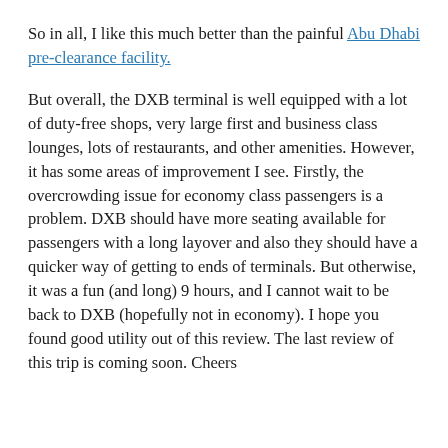So in all, I like this much better than the painful Abu Dhabi pre-clearance facility.
But overall, the DXB terminal is well equipped with a lot of duty-free shops, very large first and business class lounges, lots of restaurants, and other amenities. However, it has some areas of improvement I see. Firstly, the overcrowding issue for economy class passengers is a problem. DXB should have more seating available for passengers with a long layover and also they should have a quicker way of getting to ends of terminals. But otherwise, it was a fun (and long) 9 hours, and I cannot wait to be back to DXB (hopefully not in economy). I hope you found good utility out of this review. The last review of this trip is coming soon. Cheers